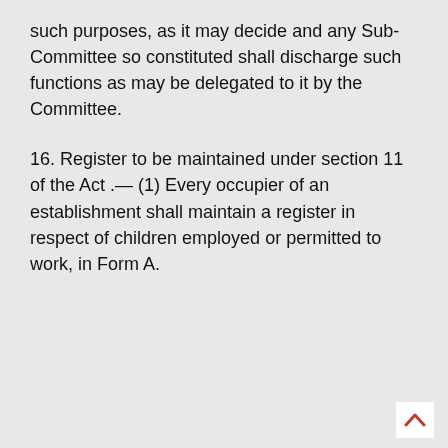such purposes, as it may decide and any Sub-Committee so constituted shall discharge such functions as may be delegated to it by the Committee.
16. Register to be maintained under section 11 of the Act .— (1) Every occupier of an establishment shall maintain a register in respect of children employed or permitted to work, in Form A.